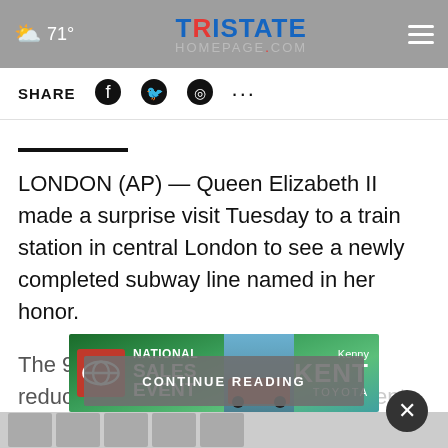☁ 71° | TRISTATE HOMEPAGE.com
SHARE
LONDON (AP) — Queen Elizabeth II made a surprise visit Tuesday to a train station in central London to see a newly completed subway line named in her honor.
The 96-year-old monarch, who has reduced most of her public engagements, appeared Tuesday at Paddington St...
CONTINUE READING
[Figure (screenshot): Toyota National Sales Event advertisement banner for Kenny Kent Toyota]